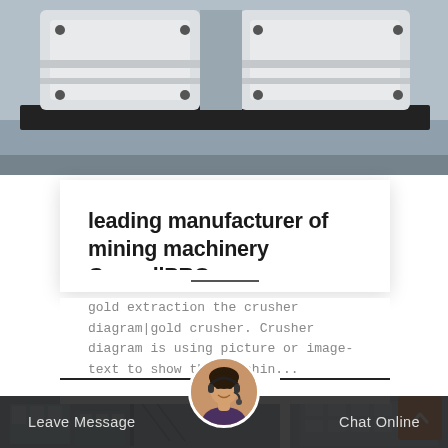[Figure (photo): Industrial mining machine/crusher equipment photographed from above on a factory floor, showing white/cream colored heavy machinery parts on a dark base.]
leading manufacturer of mining machinery ConsellPRO
gold extraction the crusher diagram|gold crusher. Crusher diagram is using picture or image-text to show the crushin...
[Figure (photo): Bottom section showing an industrial facility exterior photo and a customer service representative avatar with headset, alongside Leave Message and Chat Online buttons in a dark bottom bar.]